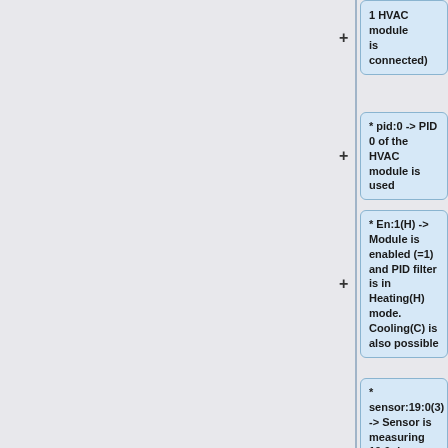1 HVAC module is connected)
* pid:0 -> PID 0 of the HVAC module is used
* En:1(H) -> Module is enabled (=1) and PID filter is in Heating(H) mode. Cooling(C) is also possible
* sensor:19:0(3) -> Sensor is measuring 19.0 degree celsius en Sensor (3) of this HVAC module is used for this PID